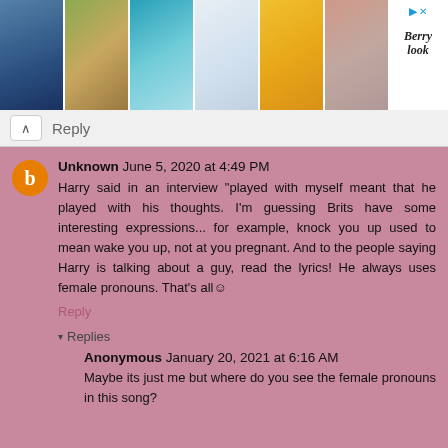[Figure (screenshot): Advertisement banner showing 6 women's clothing items (shirts, dresses, blouses) with 'Berrylook' brand label and a close/dismiss button in the top right corner.]
Reply
Unknown  June 5, 2020 at 4:49 PM
Harry said in an interview "played with myself meant that he played with his thoughts. I'm guessing Brits have some interesting expressions... for example, knock you up used to mean wake you up, not at you pregnant. And to the people saying Harry is talking about a guy, read the lyrics! He always uses female pronouns. That's all☺
Reply
▾  Replies
Anonymous  January 20, 2021 at 6:16 AM
Maybe its just me but where do you see the female pronouns in this song?